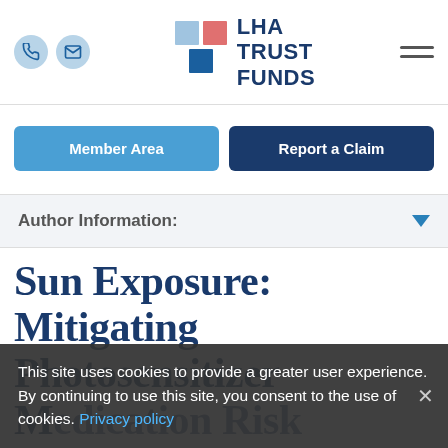LHA TRUST FUNDS
Member Area
Report a Claim
Author Information:
Sun Exposure: Mitigating Photosensitizer Medication Risk
This site uses cookies to provide a greater user experience. By continuing to use this site, you consent to the use of cookies. Privacy policy